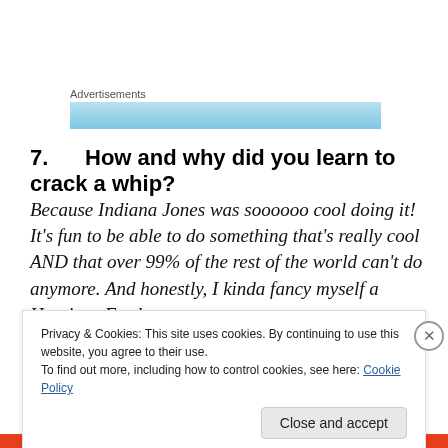Advertisements
[Figure (photo): Advertisement banner image with light blue background]
7.   How and why did you learn to crack a whip?
Because Indiana Jones was soooooo cool doing it! It's fun to be able to do something that's really cool AND that over 99% of the rest of the world can't do anymore. And honestly, I kinda fancy myself a Harrison Ford
Privacy & Cookies: This site uses cookies. By continuing to use this website, you agree to their use.
To find out more, including how to control cookies, see here: Cookie Policy
Close and accept